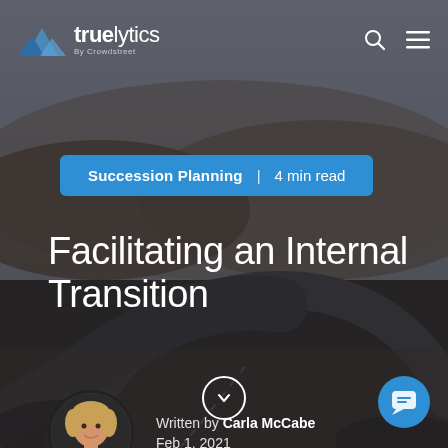[Figure (screenshot): Truelytics by Crowdstreet website header — mountain logo with 'truelytics By Crowdstreet' wordmark, search icon, and hamburger menu icon on dark background]
Succession Planning  |  4 min read
Facilitating an Internal Transition
Written by Carla McCabe
Feb 1, 2021